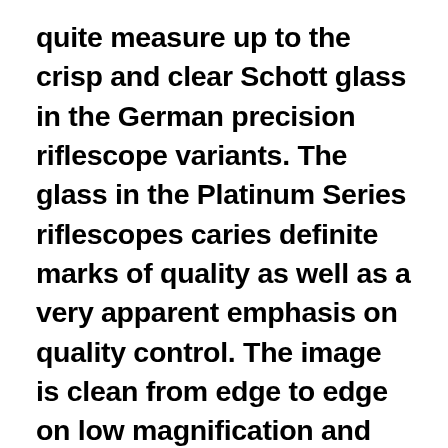quite measure up to the crisp and clear Schott glass in the German precision riflescope variants. The glass in the Platinum Series riflescopes caries definite marks of quality as well as a very apparent emphasis on quality control. The image is clean from edge to edge on low magnification and this holds true until you reach about 25x magnification. Between 25-30x the image begins to gather a slight fuzz around the edges, but the sight picture remains clear. Parallax on the Platinum Series Riflescope seems to work extremely well from 0-800 yards. Beyond 800 yards I ran out of parallax adjustment that would focus to my eyes, but everyone's eyes are different. This seemed a little bit quick compared to most